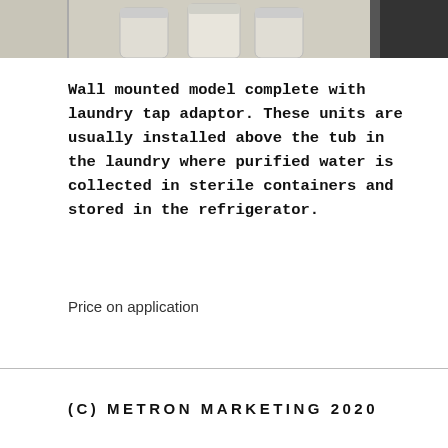[Figure (photo): Partial photo of a wall mounted water filter unit with laundry tap adaptor, showing the top portion of the device against a light background.]
Wall mounted model complete with laundry tap adaptor. These units are usually installed above the tub in the laundry where purified water is collected in sterile containers and stored in the refrigerator.
Price on application
(C) METRON MARKETING 2020